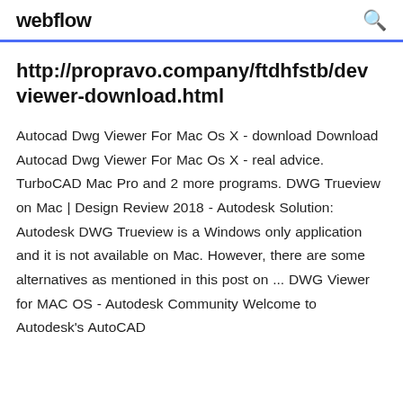webflow
http://propravo.company/ftdhfstb/dev viewer-download.html
Autocad Dwg Viewer For Mac Os X - download Download Autocad Dwg Viewer For Mac Os X - real advice. TurboCAD Mac Pro and 2 more programs. DWG Trueview on Mac | Design Review 2018 - Autodesk Solution: Autodesk DWG Trueview is a Windows only application and it is not available on Mac. However, there are some alternatives as mentioned in this post on ... DWG Viewer for MAC OS - Autodesk Community Welcome to Autodesk's AutoCAD for Mac Forum. Share and learn, download and